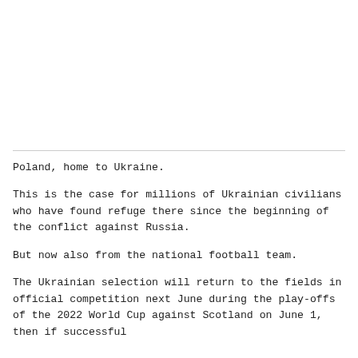Poland, home to Ukraine.
This is the case for millions of Ukrainian civilians who have found refuge there since the beginning of the conflict against Russia.
But now also from the national football team.
The Ukrainian selection will return to the fields in official competition next June during the play-offs of the 2022 World Cup against Scotland on June 1, then if successful